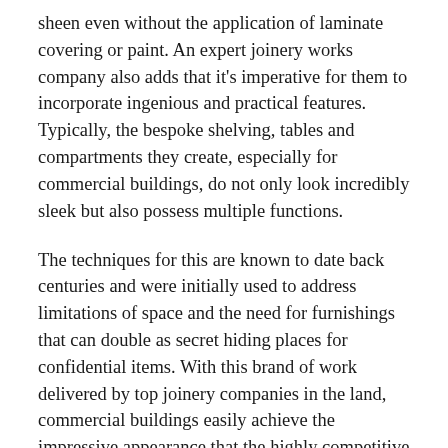sheen even without the application of laminate covering or paint. An expert joinery works company also adds that it's imperative for them to incorporate ingenious and practical features. Typically, the bespoke shelving, tables and compartments they create, especially for commercial buildings, do not only look incredibly sleek but also possess multiple functions.
The techniques for this are known to date back centuries and were initially used to address limitations of space and the need for furnishings that can double as secret hiding places for confidential items. With this brand of work delivered by top joinery companies in the land, commercial buildings easily achieve the impressive appearance that the highly competitive local business scene demands. Know more about this by clicking here.